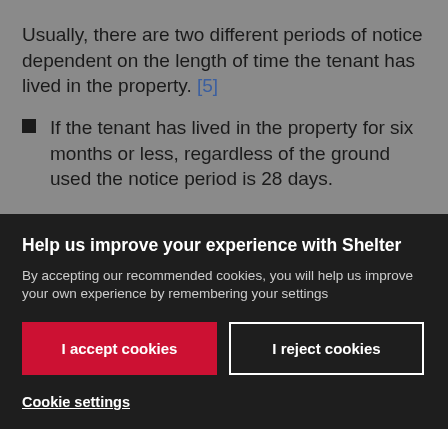Usually, there are two different periods of notice dependent on the length of time the tenant has lived in the property. [5]
If the tenant has lived in the property for six months or less, regardless of the ground used the notice period is 28 days.
Help us improve your experience with Shelter
By accepting our recommended cookies, you will help us improve your own experience by remembering your settings
I accept cookies
I reject cookies
Cookie settings